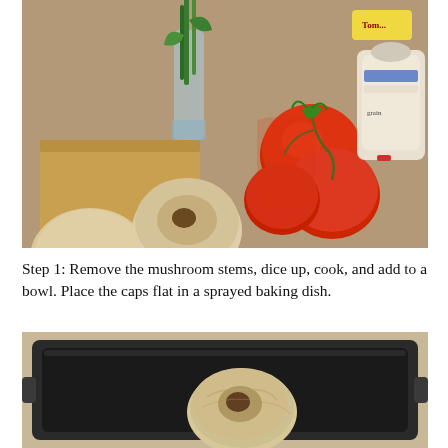[Figure (photo): Kitchen counter with portobello mushroom caps in a paper bag, a glass vase with green shoots, a net bag of red tomatoes on the vine, and a bag of grain/rice on a granite countertop.]
Step 1: Remove the mushroom stems, dice up, cook, and add to a bowl. Place the caps flat in a sprayed baking dish.
[Figure (photo): A dark non-stick baking dish/pan on a countertop with one mushroom cap placed flat inside it.]